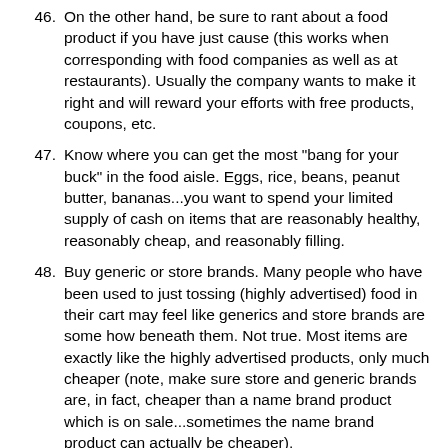46. On the other hand, be sure to rant about a food product if you have just cause (this works when corresponding with food companies as well as at restaurants). Usually the company wants to make it right and will reward your efforts with free products, coupons, etc.
47. Know where you can get the most "bang for your buck" in the food aisle. Eggs, rice, beans, peanut butter, bananas...you want to spend your limited supply of cash on items that are reasonably healthy, reasonably cheap, and reasonably filling.
48. Buy generic or store brands. Many people who have been used to just tossing (highly advertised) food in their cart may feel like generics and store brands are some how beneath them. Not true. Most items are exactly like the highly advertised products, only much cheaper (note, make sure store and generic brands are, in fact, cheaper than a name brand product which is on sale...sometimes the name brand product can actually be cheaper).
49. Shop local. Try Farmer's Markets, especially at the end